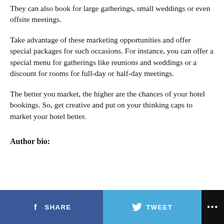They can also book for large gatherings, small weddings or even offsite meetings.
Take advantage of these marketing opportunities and offer special packages for such occasions. For instance, you can offer a special menu for gatherings like reunions and weddings or a discount for rooms for full-day or half-day meetings.
The better you market, the higher are the chances of your hotel bookings. So, get creative and put on your thinking caps to market your hotel better.
Author bio:
SHARE   TWEET   ...